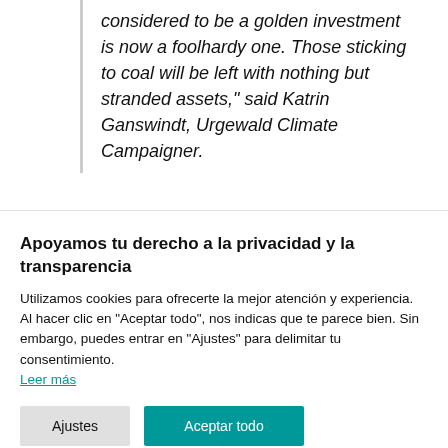considered to be a golden investment is now a foolhardy one. Those sticking to coal will be left with nothing but stranded assets," said Katrin Ganswindt, Urgewald Climate Campaigner.
Apoyamos tu derecho a la privacidad y la transparencia
Utilizamos cookies para ofrecerte la mejor atención y experiencia. Al hacer clic en "Aceptar todo", nos indicas que te parece bien. Sin embargo, puedes entrar en "Ajustes" para delimitar tu consentimiento. Leer más